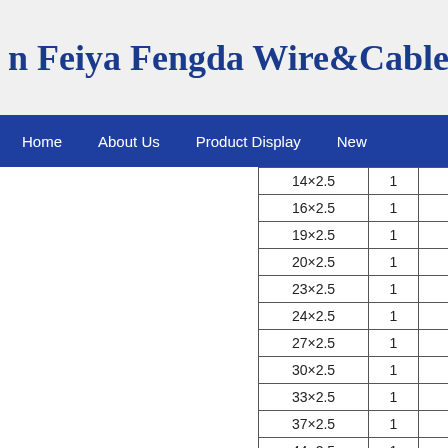Feiya Fengda Wire&Cable
Home   About Us   Product Display   New
| 14×2.5 | 1 |  |
| 16×2.5 | 1 |  |
| 19×2.5 | 1 |  |
| 20×2.5 | 1 |  |
| 23×2.5 | 1 |  |
| 24×2.5 | 1 |  |
| 27×2.5 | 1 |  |
| 30×2.5 | 1 |  |
| 33×2.5 | 1 |  |
| 37×2.5 | 1 |  |
| 44×2.5 | 1 |  |